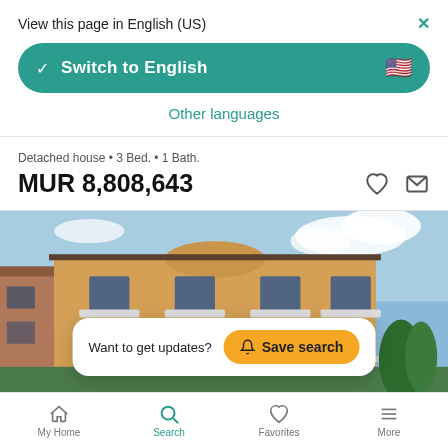View this page in English (US)
Switch to English
Other languages
Detached house • 3 Bed. • 1 Bath.
MUR 8,808,643
[Figure (photo): Exterior photo of a detached yellow house with balconies, brick details, and trees visible against a partly cloudy sky. A popup overlay reads 'Want to get updates? Save search']
My Home  Search  Favorites  More